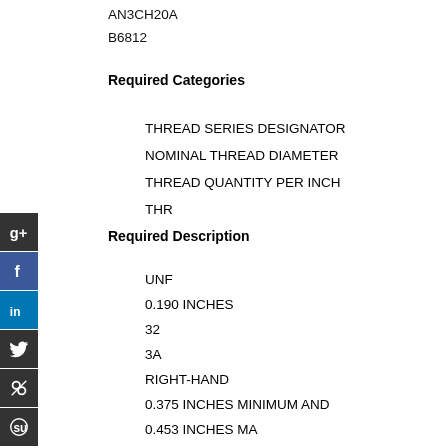AN3CH20A
B6812
Required Categories
THREAD SERIES DESIGNATOR
NOMINAL THREAD DIAMETER
THREAD QUANTITY PER INCH
THR
Required Description
UNF
0.190 INCHES
32
3A
RIGHT-HAND
0.375 INCHES MINIMUM AND
0.453 INCHES MA